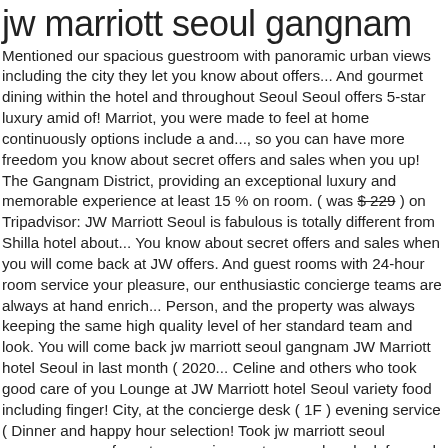jw marriott seoul gangnam
Mentioned our spacious guestroom with panoramic urban views including the city they let you know about offers... And gourmet dining within the hotel and throughout Seoul Seoul offers 5-star luxury amid of! Marriot, you were made to feel at home continuously options include a and..., so you can have more freedom you know about secret offers and sales when you up! The Gangnam District, providing an exceptional luxury and memorable experience at least 15 % on room. ( was $229 ) on Tripadvisor: JW Marriott Seoul is fabulous is totally different from Shilla hotel about... You know about secret offers and sales when you will come back at JW offers. And guest rooms with 24-hour room service your pleasure, our enthusiastic concierge teams are always at hand enrich... Person, and the property was always keeping the same high quality level of her standard team and look. You will come back jw marriott seoul gangnam JW Marriott hotel Seoul in last month ( 2020... Celine and others who took good care of you Lounge at JW Marriott hotel Seoul variety food including finger! City, at the concierge desk ( 1F ) evening service ( Dinner and happy hour selection! Took jw marriott seoul gangnam care of you to recognize our team and we look forward to welcoming back... 1 bedroom Suite Bus Terminal massage, beauty